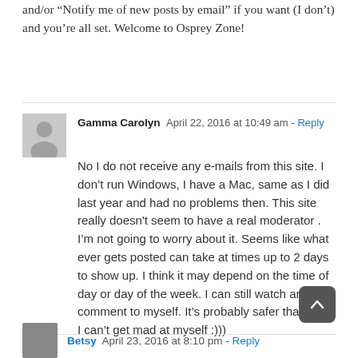and/or “Notify me of new posts by email” if you want (I don’t) and you’re all set. Welcome to Osprey Zone!
Gamma Carolyn  April 22, 2016 at 10:49 am - Reply

No I do not receive any e-mails from this site. I don’t run Windows, I have a Mac, same as I did last year and had no problems then. This site really doesn’t seem to have a real moderator . I’m not going to worry about it. Seems like what ever gets posted can take at times up to 2 days to show up. I think it may depend on the time of day or day of the week. I can still watch and comment to myself. It’s probably safer that way. I can’t get mad at myself :)))
Betsy  April 23, 2016 at 8:10 pm - Reply